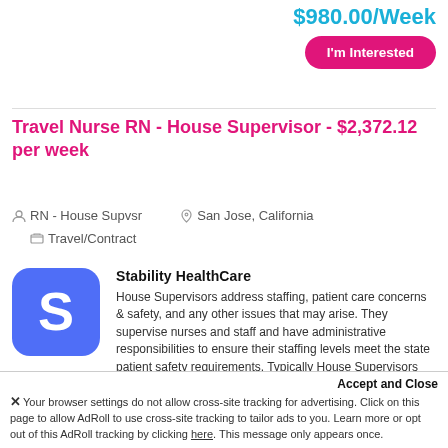$980.00/Week
I'm Interested
Travel Nurse RN - House Supervisor - $2,372.12 per week
RN - House Supvsr   Travel/Contract   San Jose, California
[Figure (logo): Stability HealthCare logo - blue rounded square with white S]
Stability HealthCare
House Supervisors address staffing, patient care concerns & safety, and any other issues that may arise. They supervise nurses and staff and have administrative responsibilities to ensure their staffing levels meet the state patient safety requirements. Typically House Supervisors report to head of a unit/department. REQUIREMENTS * Active BL... Read More
Accept and Close
✕ Your browser settings do not allow cross-site tracking for advertising. Click on this page to allow AdRoll to use cross-site tracking to tailor ads to you. Learn more or opt out of this AdRoll tracking by clicking here. This message only appears once.